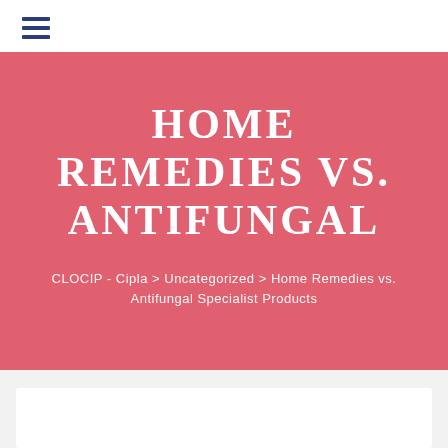☰ (hamburger menu icon)
HOME REMEDIES VS. ANTIFUNGAL
CLOCIP - Cipla > Uncategorized > Home Remedies vs. Antifungal Specialist Products